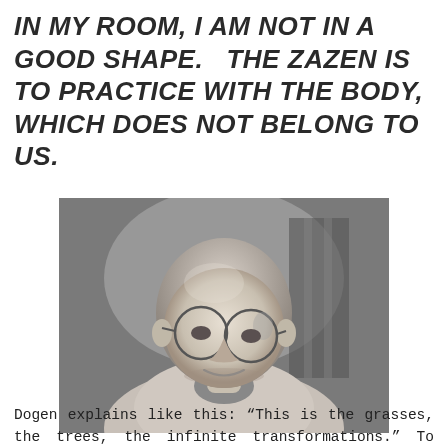IN MY ROOM, I AM NOT IN A GOOD SHAPE. THE ZAZEN IS TO PRACTICE WITH THE BODY, WHICH DOES NOT BELONG TO US.
[Figure (photo): Black and white portrait photograph of a bald man with round glasses, smiling slightly, wearing a light sweater over a collared shirt, with a blurred background.]
Dogen explains like this: “This is the grasses, the trees, the infinite transformations.” To become intimate with the nature. To forget the individual